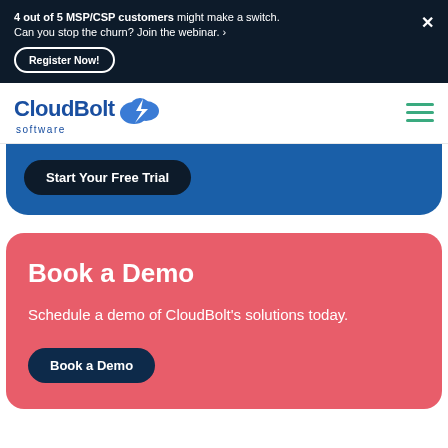4 out of 5 MSP/CSP customers might make a switch. Can you stop the churn? Join the webinar. › Register Now!
[Figure (logo): CloudBolt Software logo with cloud and lightning bolt icon in blue]
Start Your Free Trial
Book a Demo
Schedule a demo of CloudBolt's solutions today.
Book a Demo